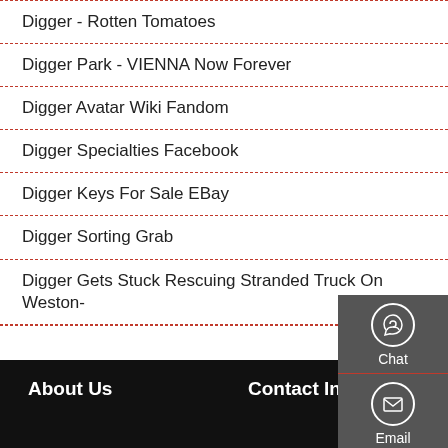Digger - Rotten Tomatoes
Digger Park - VIENNA Now Forever
Digger Avatar Wiki Fandom
Digger Specialties Facebook
Digger Keys For Sale EBay
Digger Sorting Grab
Digger Gets Stuck Rescuing Stranded Truck On Weston-
[Figure (infographic): Sidebar widget with three items: Chat (headset icon), Email (envelope icon), Contact (speech bubble with dots icon), each separated by a red dashed border on a grey background.]
About Us    Contact Info